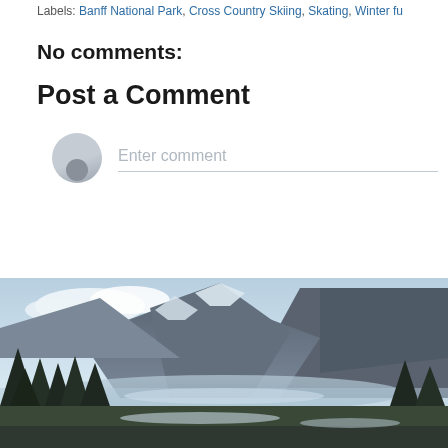Labels: Banff National Park, Cross Country Skiing, Skating, Winter fu...
No comments:
Post a Comment
[Figure (illustration): User avatar placeholder circle with grey silhouette icon and comment input field with placeholder text 'Enter comment']
Newer Post
H
Subscribe to: Post Comments (Atom)
[Figure (photo): Mountain landscape photo with snow-capped mountains, lake, coniferous trees, and partly cloudy sky]